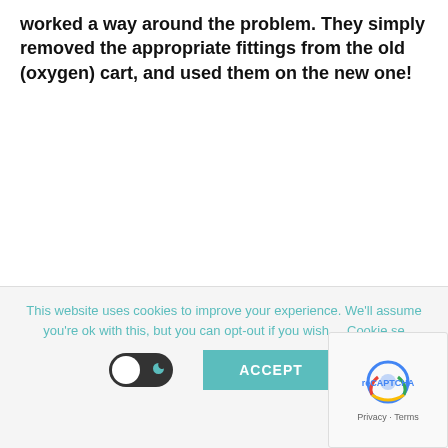worked a way around the problem. They simply removed the appropriate fittings from the old (oxygen) cart, and used them on the new one!
This website uses cookies to improve your experience. We'll assume you're ok with this, but you can opt-out if you wish. Cookie se...